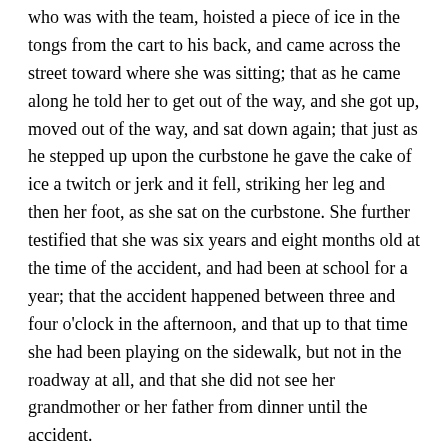who was with the team, hoisted a piece of ice in the tongs from the cart to his back, and came across the street toward where she was sitting; that as he came along he told her to get out of the way, and she got up, moved out of the way, and sat down again; that just as he stepped up upon the curbstone he gave the cake of ice a twitch or jerk and it fell, striking her leg and then her foot, as she sat on the curbstone. She further testified that she was six years and eight months old at the time of the accident, and had been at school for a year; that the accident happened between three and four o'clock in the afternoon, and that up to that time she had been playing on the sidewalk, but not in the roadway at all, and that she did not see her grandmother or her father from dinner until the accident.
Page 81
The father of the plaintiff testified that the accident happened between four and five o'clock in the afternoon, and that he had left the house after dinner about one o'clock, and had not seen his children until after the accident to the father...